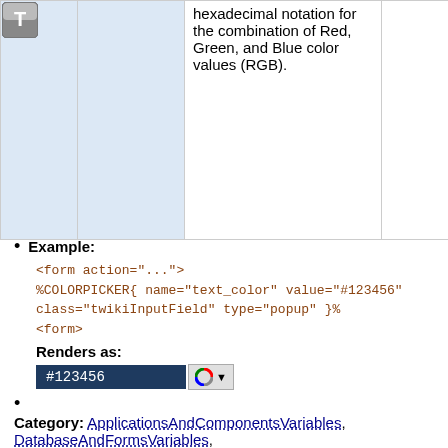|  |  | hexadecimal notation for the combination of Red, Green, and Blue color values (RGB). |  |
| --- | --- | --- | --- |
|  |  | hexadecimal notation for the combination of Red, Green, and Blue color values (RGB). |  |
Example:
<form action="...">
%COLORPICKER{ name="text_color" value="#123456"
class="twikiInputField" type="popup" }%
<form>
Renders as:
[Figure (screenshot): Color picker widget showing #123456 in a dark blue input field with a color wheel button and dropdown arrow]
Category: ApplicationsAndComponentsVariables, DatabaseAndFormsVariables, EditingAndContentUpdateVariables, FormattingAndRenderingVariables, UIAndVisualizationVariables
Related: ColorPickerPlugin, TWikiForms (this topic)